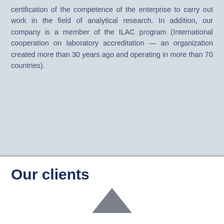certification of the competence of the enterprise to carry out work in the field of analytical research. In addition, our company is a member of the ILAC program (International cooperation on laboratory accreditation — an organization created more than 30 years ago and operating in more than 70 countries).
Our clients
[Figure (logo): Partial triangle/arrow logo mark at bottom of page, dark grey color]